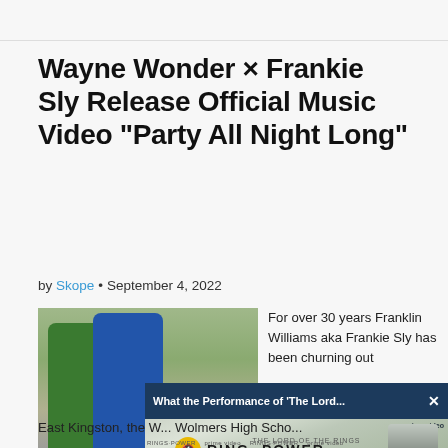Wayne Wonder × Frankie Sly Release Official Music Video “Party All Night Long”
by Skope • September 4, 2022
[Figure (photo): Two men posing outdoors, one in a green outfit and one in a blue outfit]
For over 30 years Franklin Williams aka Frankie Sly has been churning out
[Figure (screenshot): Video overlay: 'What the Performance of The Lord...' with Prime Video Rings of Power promotional content, a woman in silver dress at a red carpet event, mute button visible]
East Kingston, the W... Wolmers High Scho...